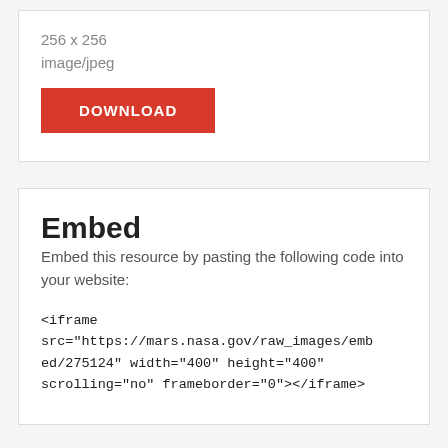256 x 256
image/jpeg
DOWNLOAD
Embed
Embed this resource by pasting the following code into your website:
<iframe src="https://mars.nasa.gov/raw_images/embed/275124" width="400" height="400" scrolling="no" frameborder="0"></iframe>